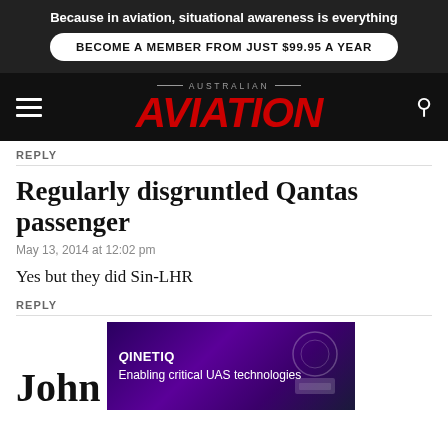Because in aviation, situational awareness is everything
BECOME A MEMBER FROM JUST $99.95 A YEAR
[Figure (logo): Australian Aviation magazine logo with red italic AVIATION text on black background]
REPLY
Regularly disgruntled Qantas passenger
May 13, 2014 at 12:02 pm
Yes but they did Sin-LHR
REPLY
John
[Figure (screenshot): QinetiQ advertisement banner: Enabling critical UAS technologies]